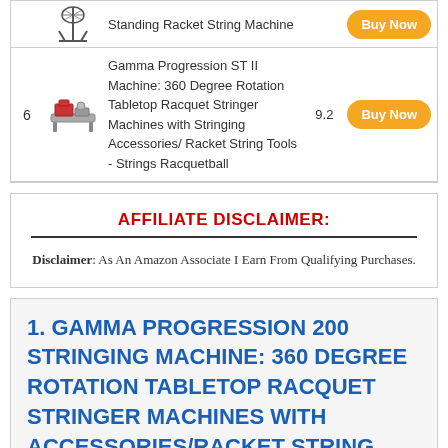| # | Image | Product | Score | Action |
| --- | --- | --- | --- | --- |
|  |  | Standing Racket String Machine |  | Buy Now |
| 6 |  | Gamma Progression ST II Machine: 360 Degree Rotation Tabletop Racquet Stringer Machines with Stringing Accessories/ Racket String Tools - Strings Racquetball | 9.2 | Buy Now |
AFFILIATE DISCLAIMER: Disclaimer: As An Amazon Associate I Earn From Qualifying Purchases.
1. GAMMA PROGRESSION 200 STRINGING MACHINE: 360 DEGREE ROTATION TABLETOP RACQUET STRINGER MACHINES WITH ACCESSORIES/RACKET STRING TOOLS – STRINGS RACQUETBALL